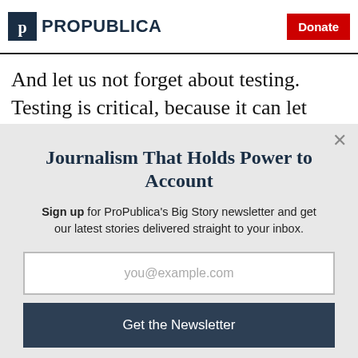ProPublica | Donate
And let us not forget about testing. Testing is critical, because it can let people know if they're sick before
Journalism That Holds Power to Account
Sign up for ProPublica's Big Story newsletter and get our latest stories delivered straight to your inbox.
you@example.com
Get the Newsletter
No thanks, I'm all set
This site is protected by reCAPTCHA and the Google Privacy Policy and Terms of Service apply.